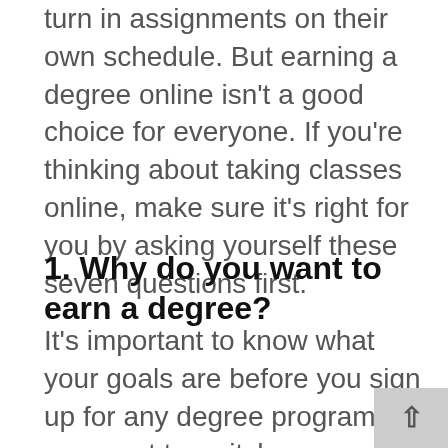turn in assignments on their own schedule. But earning a degree online isn't a good choice for everyone. If you're thinking about taking classes online, make sure it's right for you by asking yourself these seven questions first.
1. Why do you want to earn a degree?
It's important to know what your goals are before you sign up for any degree program. Do you want to switch careers? Are you trying to get promoted at your current job? Knowing what you want to achieve will help you decide which